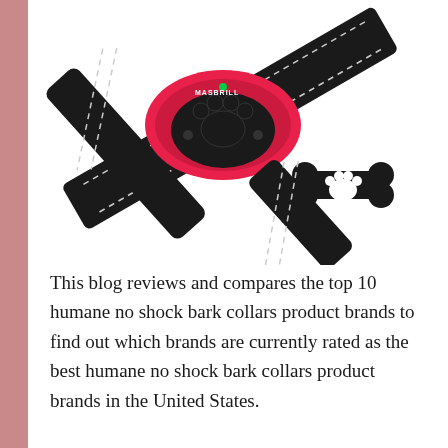[Figure (photo): Product photo of a MASBRILL brand humane no-shock bark collar in pink/red with a black nylon adjustable strap with reflective stitching. A black dog bone shaped accessory with a paw print cutout is shown beside it.]
This blog reviews and compares the top 10 humane no shock bark collars product brands to find out which brands are currently rated as the best humane no shock bark collars product brands in the United States.